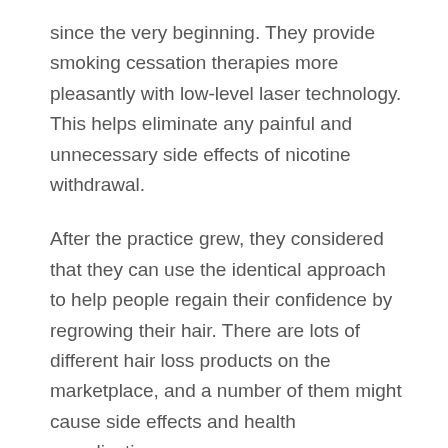since the very beginning. They provide smoking cessation therapies more pleasantly with low-level laser technology. This helps eliminate any painful and unnecessary side effects of nicotine withdrawal.
After the practice grew, they considered that they can use the identical approach to help people regain their confidence by regrowing their hair. There are lots of different hair loss products on the marketplace, and a number of them might cause side effects and health complications.
In addition to providing products and services that improve appearance and health, iRestore seeks to inspire individuals. Investing in health products shouldn't be something that costs thousands of dollars.
They also supply vitamins, baldness serums, shampoos, conditioners, and other supplementary products in addition to laser